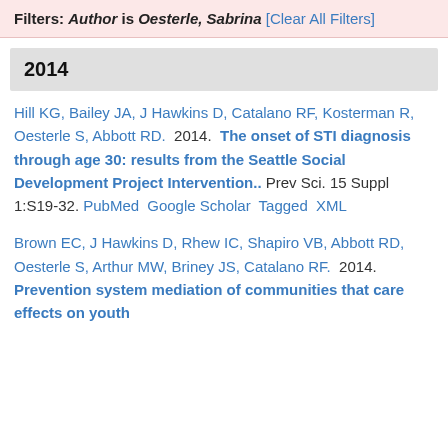Filters: Author is Oesterle, Sabrina [Clear All Filters]
2014
Hill KG, Bailey JA, J Hawkins D, Catalano RF, Kosterman R, Oesterle S, Abbott RD. 2014. The onset of STI diagnosis through age 30: results from the Seattle Social Development Project Intervention.. Prev Sci. 15 Suppl 1:S19-32. PubMed Google Scholar Tagged XML
Brown EC, J Hawkins D, Rhew IC, Shapiro VB, Abbott RD, Oesterle S, Arthur MW, Briney JS, Catalano RF. 2014. Prevention system mediation of communities that care effects on youth